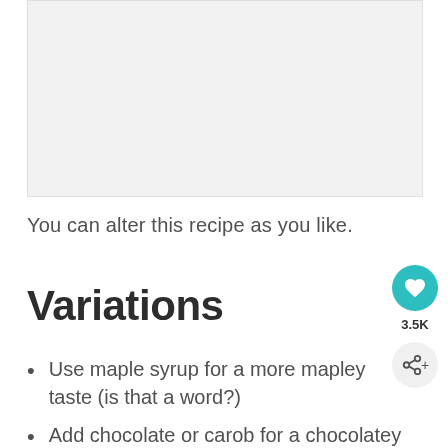[Figure (photo): A large light gray image placeholder area at the top of the page]
You can alter this recipe as you like.
Variations
Use maple syrup for a more mapley taste (is that a word?)
Add chocolate or carob for a chocolatey treat!. Start with 2